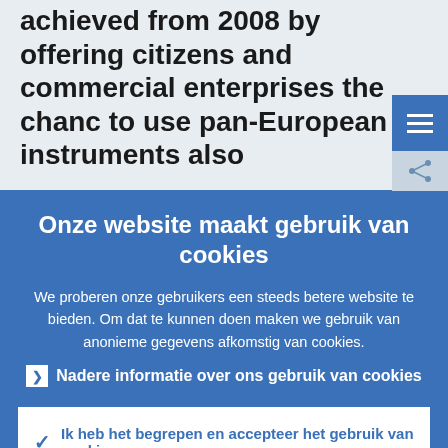Firstly, dCSI/yet citizens should. It's achieved from 2008 by offering citizens and commercial enterprises the chance to use pan-European instruments also
Onze website maakt gebruik van cookies
We proberen onze gebruikers een steeds betere website te bieden. Om dat te kunnen doen maken we gebruik van anonieme gegevens afkomstig van cookies.
Nadere informatie over ons gebruik van cookies
Ik heb het begrepen en accepteer het gebruik van cookies
Ik weiger cookies